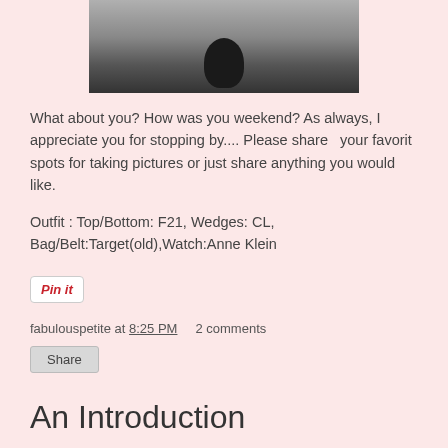[Figure (photo): Partial photo of a rooster or bird on pavement, cut off at top]
What about you? How was you weekend? As always, I appreciate you for stopping by.... Please share   your favorit spots for taking pictures or just share anything you would like.
Outfit : Top/Bottom: F21, Wedges: CL, Bag/Belt:Target(old),Watch:Anne Klein
[Figure (screenshot): Pin it button]
fabulouspetite at 8:25 PM    2 comments
Share
An Introduction